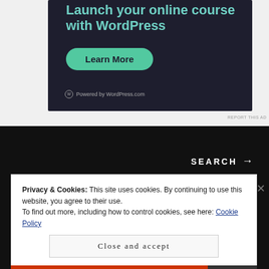[Figure (screenshot): Advertisement banner with dark background showing 'Launch your online course with WordPress' text, a teal 'Learn More' button, and 'Powered by WordPress.com' branding.]
REPORT THIS AD
SEARCH →
Privacy & Cookies: This site uses cookies. By continuing to use this website, you agree to their use.
To find out more, including how to control cookies, see here: Cookie Policy
Close and accept